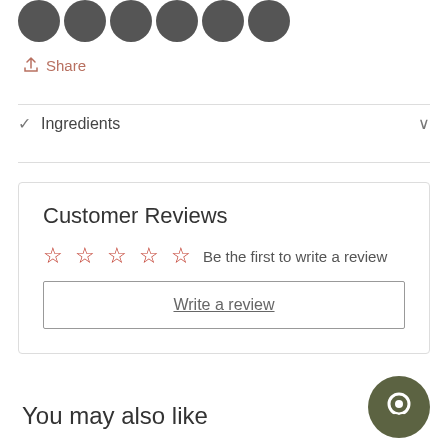[Figure (illustration): Row of 6 dark gray circular icon buttons at top of page]
Share
Ingredients
Customer Reviews
Be the first to write a review
Write a review
You may also like
[Figure (illustration): Dark olive green circular chat bubble button in bottom right corner]